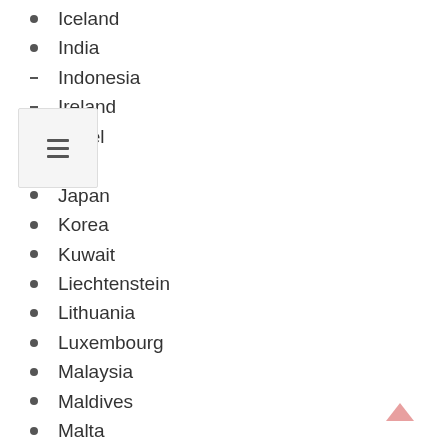Iceland
India
Indonesia
Ireland
Israel
Italy
Japan
Korea
Kuwait
Liechtenstein
Lithuania
Luxembourg
Malaysia
Maldives
Malta
Mauritius
Mexico
Monaco
Nauru